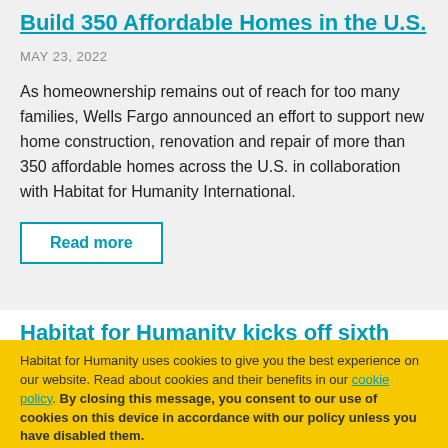Build 350 Affordable Homes in the U.S.
MAY 23, 2022
As homeownership remains out of reach for too many families, Wells Fargo announced an effort to support new home construction, renovation and repair of more than 350 affordable homes across the U.S. in collaboration with Habitat for Humanity International.
Read more
Habitat for Humanity kicks off sixth annual
Habitat for Humanity uses cookies to give you the best experience on our website. Read about cookies and their benefits in our cookie policy. By closing this message, you consent to our use of cookies on this device in accordance with our policy unless you have disabled them.
Managing cookies
Agree and close